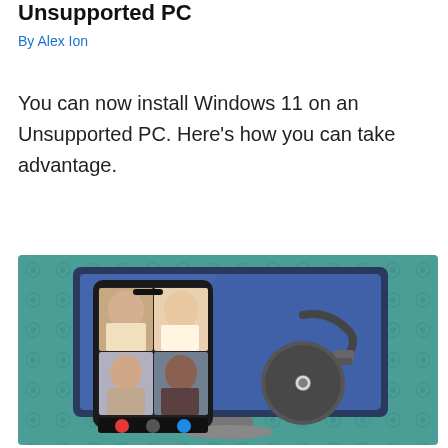Unsupported PC
By Alex Ion
You can now install Windows 11 on an Unsupported PC. Here's how you can take advantage.
[Figure (illustration): Illustration showing a smartphone with a video call on screen and a Google Chromecast dongle, both displayed in front of a monitor, set against a teal patterned background.]